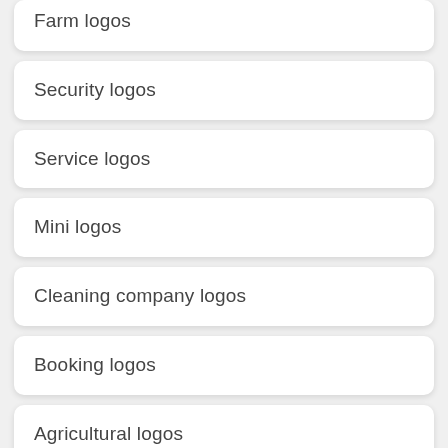Farm logos
Security logos
Service logos
Mini logos
Cleaning company logos
Booking logos
Agricultural logos
...